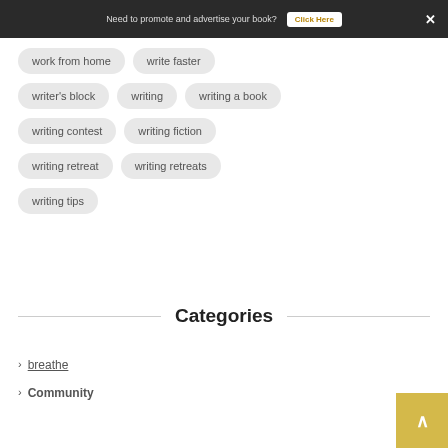Need to promote and advertise your book? Click Here ×
work from home
write faster
writer's block
writing
writing a book
writing contest
writing fiction
writing retreat
writing retreats
writing tips
Categories
breathe
Community